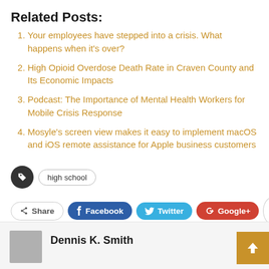Related Posts:
Your employees have stepped into a crisis. What happens when it's over?
High Opioid Overdose Death Rate in Craven County and Its Economic Impacts
Podcast: The Importance of Mental Health Workers for Mobile Crisis Response
Mosyle's screen view makes it easy to implement macOS and iOS remote assistance for Apple business customers
high school
Share  Facebook  Twitter  Google+  +
Dennis K. Smith